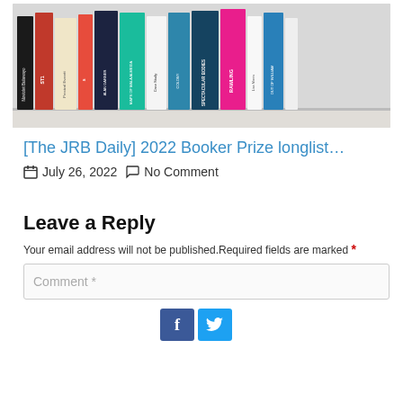[Figure (photo): A row of book spines on a shelf, showing various colorful books including titles related to the 2022 Booker Prize longlist.]
[The JRB Daily] 2022 Booker Prize longlist…
July 26, 2022   No Comment
Leave a Reply
Your email address will not be published.Required fields are marked *
Comment *